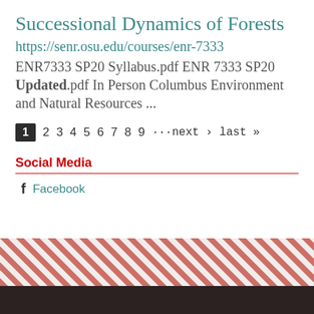Successional Dynamics of Forests
https://senr.osu.edu/courses/enr-7333
ENR7333 SP20 Syllabus.pdf ENR 7333 SP20 Updated.pdf In Person Columbus Environment and Natural Resources ...
1 2 3 4 5 6 7 8 9 ···next › last »
Social Media
f Facebook